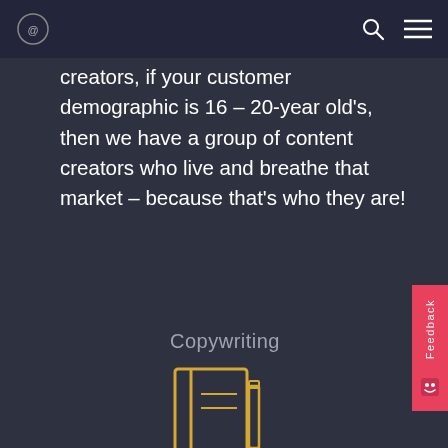[logo] [search icon] [menu icon]
creators, if your customer demographic is 16 – 20-year old's, then we have a group of content creators who live and breathe that market – because that's who they are!
Copywriting
[Figure (illustration): Yellow outline icon of a notebook/notepad with a pencil beside it]
Copy That!
Blogs, Newsletter, website copy aimed at driving traffic where you need it to go. Our copywriters work with clients to draft blogs, newsletters, website